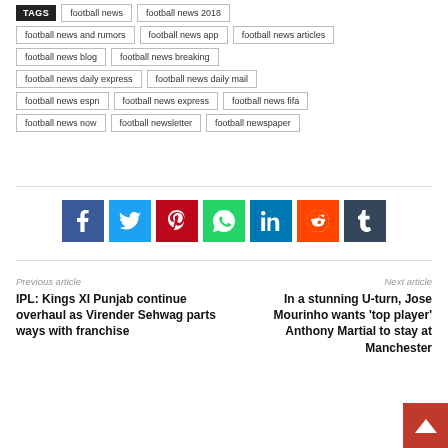TAGS  football news  football news 2018
football news and rumors  football news app  football news articles
football news blog  football news breaking
football news daily express  football news daily mail
football news espn  football news express  football news fifa
football news now  football newsletter  football newspaper
[Figure (infographic): Social media share buttons: Facebook (blue), Twitter (light blue), Pinterest (red), WhatsApp (green), LinkedIn (dark blue), Reddit (orange), Tumblr (dark slate)]
Previous article
IPL: Kings XI Punjab continue overhaul as Virender Sehwag parts ways with franchise
Next article
In a stunning U-turn, Jose Mourinho wants ‘top player’ Anthony Martial to stay at Manchester